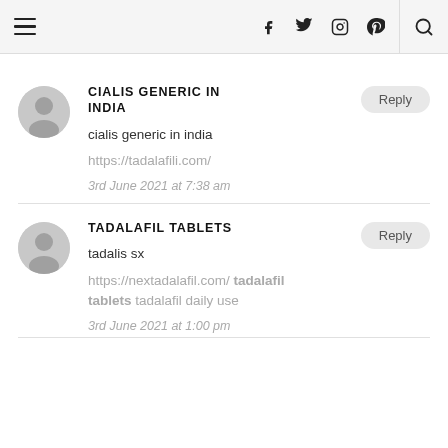Navigation header with hamburger menu, social icons (f, twitter, instagram, pinterest), search icon
CIALIS GENERIC IN INDIA
cialis generic in india
https://tadalafili.com/
3rd June 2021 at 7:38 am
TADALAFIL TABLETS
tadalis sx
https://nextadalafil.com/ tadalafil tablets tadalafil daily use
3rd June 2021 at 1:00 pm